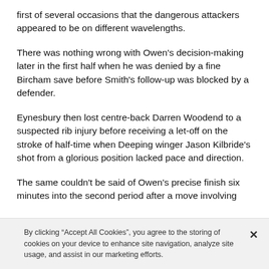first of several occasions that the dangerous attackers appeared to be on different wavelengths.
There was nothing wrong with Owen's decision-making later in the first half when he was denied by a fine Bircham save before Smith's follow-up was blocked by a defender.
Eynesbury then lost centre-back Darren Woodend to a suspected rib injury before receiving a let-off on the stroke of half-time when Deeping winger Jason Kilbride's shot from a glorious position lacked pace and direction.
The same couldn't be said of Owen's precise finish six minutes into the second period after a move involving
By clicking “Accept All Cookies”, you agree to the storing of cookies on your device to enhance site navigation, analyze site usage, and assist in our marketing efforts.